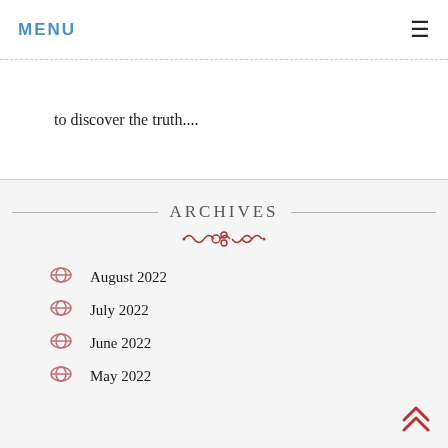MENU
to discover the truth....
ARCHIVES
August 2022
July 2022
June 2022
May 2022